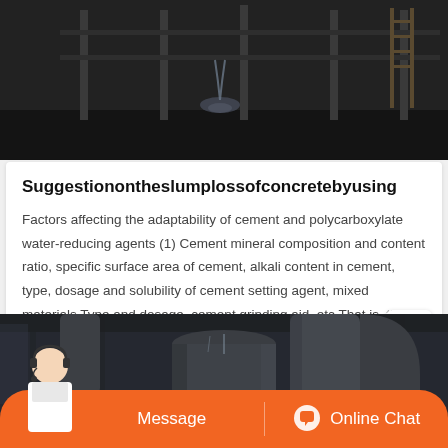[Figure (photo): Dark construction site photo showing metal scaffolding/framework and liquid/water pouring on a dark floor]
Suggestionontheslumplossofconcretebyusing
Factors affecting the adaptability of cement and polycarboxylate water-reducing agents (1) Cement mineral composition and content ratio, specific surface area of cement, alkali content in cement, type, dosage and solubility of cement setting agent, mixed materials Type and dosage, cement grinding aid, etc.That is, the higher the C3A…
[Figure (photo): Industrial facility photo showing large metal pipes and ductwork, dark industrial setting]
Message
Online Chat